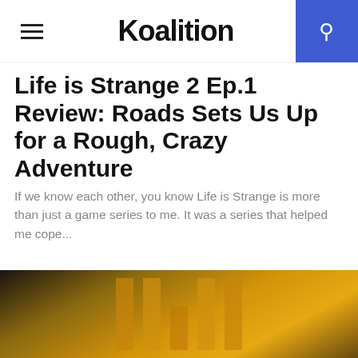Koalition
Life is Strange 2 Ep.1 Review: Roads Sets Us Up for a Rough, Crazy Adventure
If we know each other, you know Life is Strange is more than just a game series to me. It was a series that helped me cope...
[Figure (photo): Call of Duty: Black Ops 4 promotional image showing armored soldiers against a yellow/gold background with Roman numeral IV. The game logo shows CALL OF DUTY BLACK OPS in white text with orange stripe markers below.]